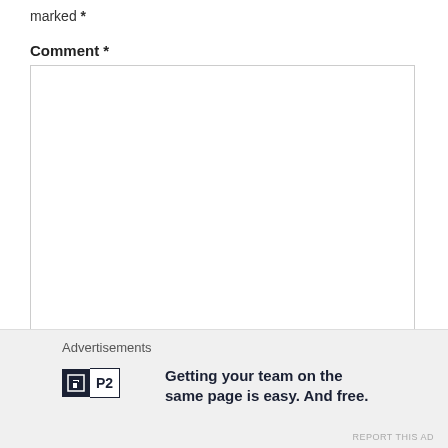marked *
Comment *
[Figure (screenshot): Empty comment textarea form field with resize handle]
Name *
[Figure (screenshot): Empty name input field]
[Figure (screenshot): Close/dismiss button (X circle icon)]
Advertisements
[Figure (logo): P2 logo - dark square with P icon and P2 text]
Getting your team on the same page is easy. And free.
REPORT THIS AD